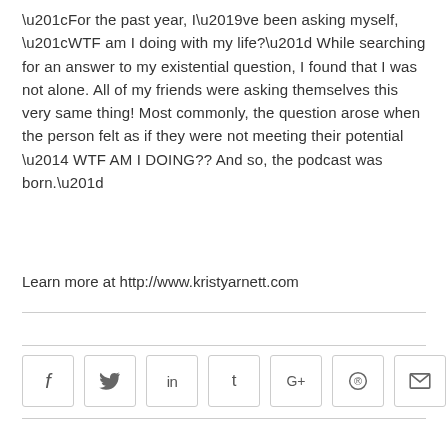“For the past year, I’ve been asking myself, “WTF am I doing with my life?” While searching for an answer to my existential question, I found that I was not alone. All of my friends were asking themselves this very same thing! Most commonly, the question arose when the person felt as if they were not meeting their potential — WTF AM I DOING?? And so, the podcast was born.”
Learn more at http://www.kristyarnett.com
[Figure (other): Social media sharing buttons: Facebook (f), Twitter (bird), LinkedIn (in), Tumblr (t), Google+ (G+), Pinterest (circle P), Email (envelope)]